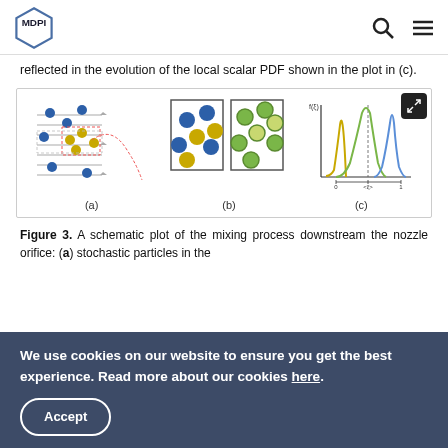MDPI [logo] [search icon] [menu icon]
reflected in the evolution of the local scalar PDF shown in the plot in (c).
[Figure (schematic): Schematic plot of mixing process downstream nozzle orifice showing three sub-panels: (a) stochastic particles in stream with dashed trajectory, (b) two panels showing particle mixing states with blue and yellow/green circles, (c) PDF curves in yellow, green, and blue showing evolution of scalar PDF]
Figure 3. A schematic plot of the mixing process downstream the nozzle orifice: (a) stochastic particles in the
We use cookies on our website to ensure you get the best experience. Read more about our cookies here.
Accept